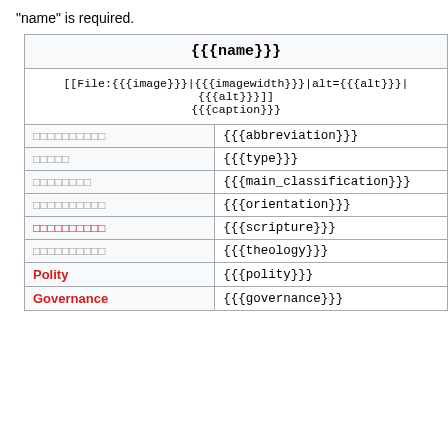"name" is required.
| {{{name}}} |
| --- |
| [[File:{{{image}}}|{{{imagewidth}}}|alt={{{alt}}}|{{{alt}}}]]
{{{caption}}} |
| □□□□□□□□□□ | {{{abbreviation}}} |
| □□□□□ | {{{type}}} |
| □□□□□□□□ | {{{main_classification}}} |
| □□□□□□□□□□ | {{{orientation}}} |
| □□□□□□□□□□ | {{{scripture}}} |
| □□□□□□□□□□ | {{{theology}}} |
| Polity | {{{polity}}} |
| Governance | {{{governance}}} |